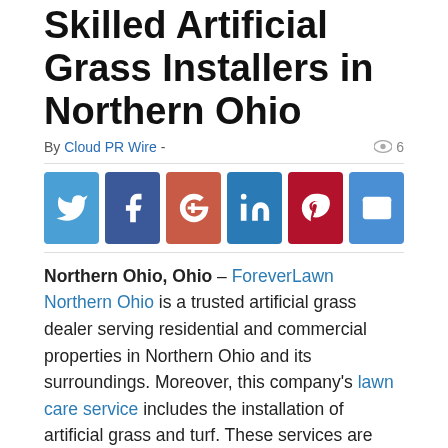Skilled Artificial Grass Installers in Northern Ohio
By Cloud PR Wire - ◉ 6
[Figure (infographic): Social media share buttons: Twitter, Facebook, Google+, LinkedIn, Pinterest, Email]
Northern Ohio, Ohio – ForeverLawn Northern Ohio is a trusted artificial grass dealer serving residential and commercial properties in Northern Ohio and its surroundings. Moreover, this company’s lawn care service includes the installation of artificial grass and turf. These services are convenient for playgrounds, athletics, dog parks, and more.